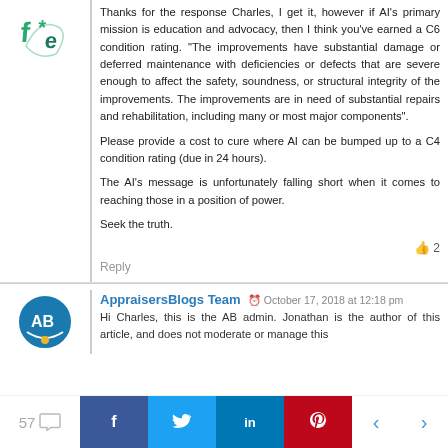[Figure (logo): Avatar icon: green and teal stylized letters on white background]
Thanks for the response Charles, I get it, however if AI's primary mission is education and advocacy, then I think you've earned a C6 condition rating. “The improvements have substantial damage or deferred maintenance with deficiencies or defects that are severe enough to affect the safety, soundness, or structural integrity of the improvements. The improvements are in need of substantial repairs and rehabilitation, including many or most major components”.

Please provide a cost to cure where AI can be bumped up to a C4 condition rating (due in 24 hours).

The AI’s message is unfortunately falling short when it comes to reaching those in a position of power.

Seek the truth.
2
Reply
[Figure (logo): AppraisersBlog Team avatar logo: circular blue icon with AB letters]
AppraisersBlogs Team  October 17, 2018 at 12:18 pm
Hi Charles, this is the AB admin. Jonathan is the author of this article, and does not moderate or manage this
57